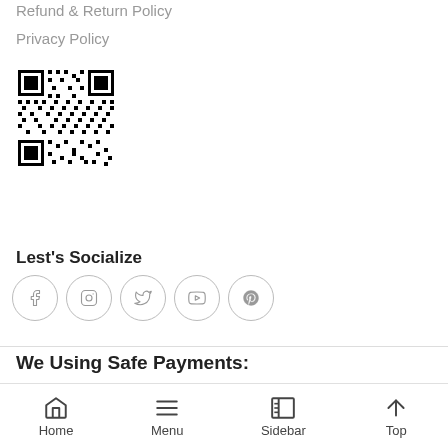Refund & Return Policy
Privacy Policy
[Figure (other): QR code image]
Lest's Socialize
[Figure (other): Social media icons: Facebook, Instagram, Twitter, YouTube, Pinterest]
We Using Safe Payments:
Home  Menu  Sidebar  Top